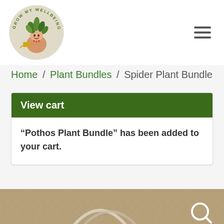[Figure (logo): Grow My Wellbeing circular logo with illustrated character having plants as hair, holding a watering can, with text 'GROW MY WELLBEING' arced around the circle]
Home / Plant Bundles / Spider Plant Bundle
View cart
“Pothos Plant Bundle” has been added to your cart.
[Figure (photo): Close-up of sandy/earthy ground texture with rope or cord shapes visible, partial view at bottom of page]